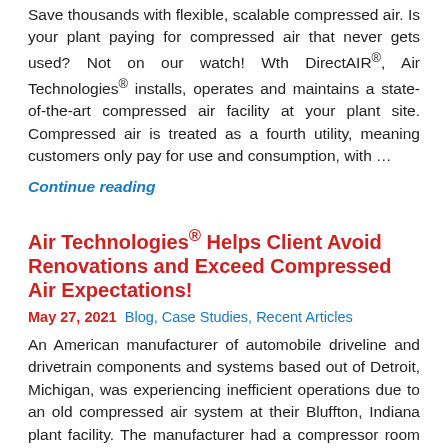Save thousands with flexible, scalable compressed air. Is your plant paying for compressed air that never gets used? Not on our watch! Wth DirectAIR®, Air Technologies® installs, operates and maintains a state-of-the-art compressed air facility at your plant site. Compressed air is treated as a fourth utility, meaning customers only pay for use and consumption, with …
Continue reading
Air Technologies® Helps Client Avoid Renovations and Exceed Compressed Air Expectations!
May 27, 2021  Blog, Case Studies, Recent Articles
An American manufacturer of automobile driveline and drivetrain components and systems based out of Detroit, Michigan, was experiencing inefficient operations due to an old compressed air system at their Bluffton, Indiana plant facility. The manufacturer had a compressor room onsite full of equipment and anticipated that installing new equipment would be labor intensive and require …